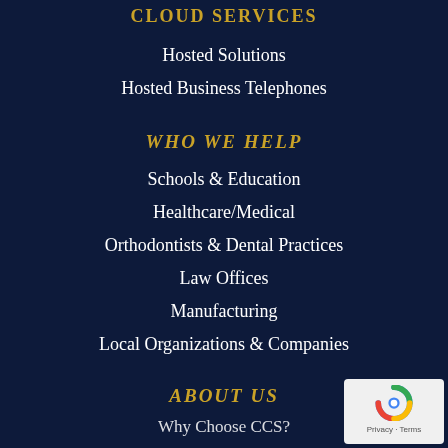CLOUD SERVICES
Hosted Solutions
Hosted Business Telephones
WHO WE HELP
Schools & Education
Healthcare/Medical
Orthodontists & Dental Practices
Law Offices
Manufacturing
Local Organizations & Companies
ABOUT US
Why Choose CCS?